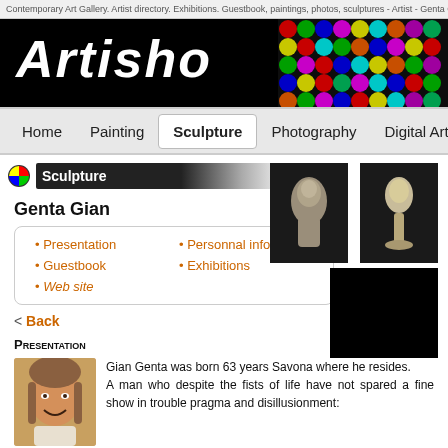Contemporary Art Gallery. Artist directory. Exhibitions. Guestbook, paintings, photos, sculptures - Artist - Genta Gian
[Figure (logo): Artisho logo banner with white hand-drawn text 'ARTISHO' on black background, right side decorated with colorful circular dot pattern]
Home   Painting   Sculpture   Photography   Digital Art   Other Art
Sculpture
Genta Gian
Presentation
Personnal infos
Guestbook
Exhibitions
Web site
< Back
Presentation
Gian Genta was born 63 years Savona where he resides.
A man who despite the fists of life have not spared a fine show in trouble pragma and disillusionment: